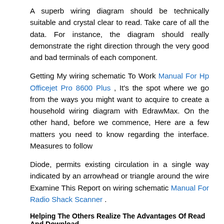A superb wiring diagram should be technically suitable and crystal clear to read. Take care of all the data. For instance, the diagram should really demonstrate the right direction through the very good and bad terminals of each component.
Getting My wiring schematic To Work Manual For Hp Officejet Pro 8600 Plus , It's the spot where we go from the ways you might want to acquire to create a household wiring diagram with EdrawMax. On the other hand, before we commence, Here are a few matters you need to know regarding the interface. Measures to follow
Diode, permits existing circulation in a single way indicated by an arrowhead or triangle around the wire Examine This Report on wiring schematic Manual For Radio Shack Scanner .
Helping The Others Realize The Advantages Of Read And Download